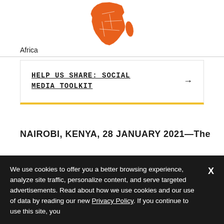[Figure (map): Orange map outline of Africa continent with country borders shown]
Africa
HELP US SHARE: SOCIAL MEDIA TOOLKIT →
NAIROBI, KENYA, 28 JANUARY 2021—The
We use cookies to offer you a better browsing experience, analyze site traffic, personalize content, and serve targeted advertisements. Read about how we use cookies and our use of data by reading our new Privacy Policy. If you continue to use this site, you